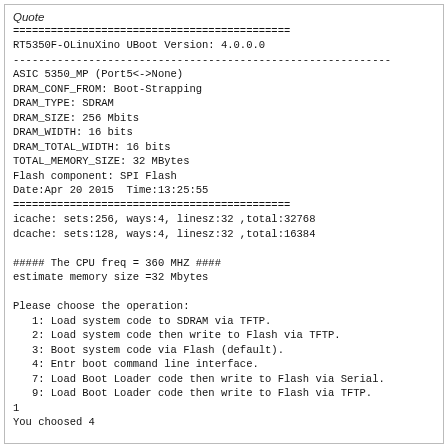Quote
============================================
RT5350F-OLinuXino UBoot Version: 4.0.0.0
------------------------------------------------------------
ASIC 5350_MP (Port5<->None)
DRAM_CONF_FROM: Boot-Strapping
DRAM_TYPE: SDRAM
DRAM_SIZE: 256 Mbits
DRAM_WIDTH: 16 bits
DRAM_TOTAL_WIDTH: 16 bits
TOTAL_MEMORY_SIZE: 32 MBytes
Flash component: SPI Flash
Date:Apr 20 2015  Time:13:25:55
============================================
icache: sets:256, ways:4, linesz:32 ,total:32768
dcache: sets:128, ways:4, linesz:32 ,total:16384

##### The CPU freq = 360 MHZ ####
estimate memory size =32 Mbytes

Please choose the operation:
1: Load system code to SDRAM via TFTP.
2: Load system code then write to Flash via TFTP.
3: Boot system code via Flash (default).
4: Entr boot command line interface.
7: Load Boot Loader code then write to Flash via Serial.
9: Load Boot Loader code then write to Flash via TFTP.
1
You choosed 4